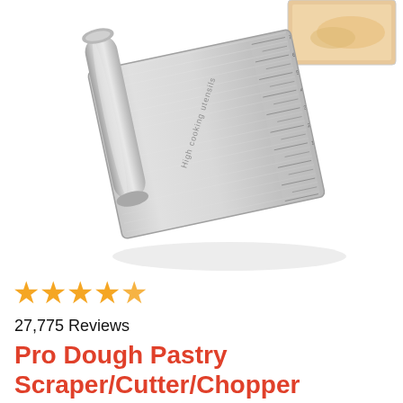[Figure (photo): A stainless steel dough pastry scraper/cutter/chopper with a rolled handle and ruler markings on the blade, photographed at an angle on a white background. Text 'High cooking utensils' is engraved on the blade.]
[Figure (photo): Small thumbnail image in upper right corner showing a pastry/dough being cut or spread on a surface.]
★★★★★
27,775 Reviews
Pro Dough Pastry Scraper/Cutter/Chopper